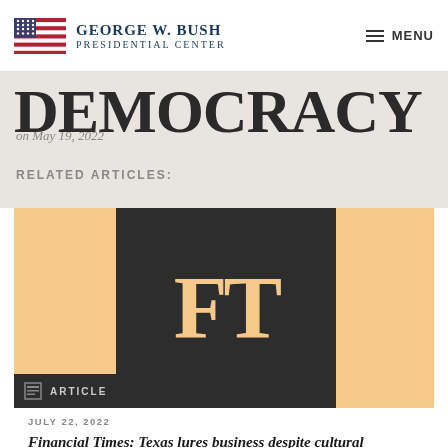George W. Bush Presidential Center | MENU
DEMOCRACY (clipped)
on May 19, 2022
RELATED ARTICLES:
[Figure (logo): Financial Times FT logo on salmon/orange background with dark grey square]
ARTICLE
JULY 22, 2022
Financial Times: Texas lures business despite cultural divisions